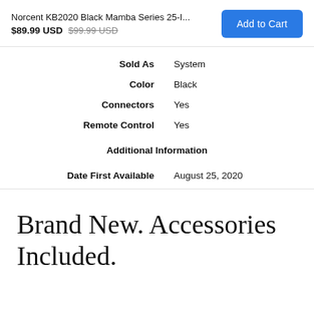Norcent KB2020 Black Mamba Series 25-I...
$89.99 USD  $99.99 USD
Add to Cart
| Sold As | System |
| Color | Black |
| Connectors | Yes |
| Remote Control | Yes |
| Additional Information |  |
| Date First Available | August 25, 2020 |
Brand New. Accessories Included.